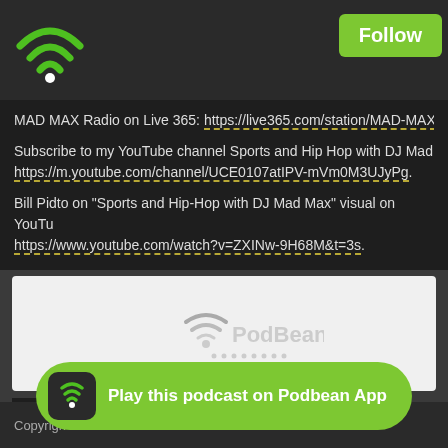[Figure (screenshot): Podbean app interface screenshot showing a dark-themed podcast page with wifi/Podbean logo icon in top-left, a green Follow button in top-right, text content with links about MAD MAX Radio, YouTube channel, and Bill Pidto mentions, a PodBean embedded player in white box, a Read Full Post link, a background photo of speaker stands/chairs, Newer Posts navigation, copyright footer, and a green Play this podcast on Podbean App button at the bottom.]
MAD MAX Radio on Live 365: https://live365.com/station/MAD-MAX
Subscribe to my YouTube channel Sports and Hip Hop with DJ Mad https://m.youtube.com/channel/UCE0107atIPV-mVm0M3UJyPg.
Bill Pidto on "Sports and Hip-Hop with DJ Mad Max" visual on YouTu https://www.youtube.com/watch?v=ZXINw-9H68M&t=3s.
[Figure (logo): PodBean logo in gray text on white background embedded player area]
Read Full Post »
[Figure (photo): Background photo of black speaker stands or chair frames on a light gray surface]
« Newer Posts -
Copyrigh
Play this podcast on Podbean App